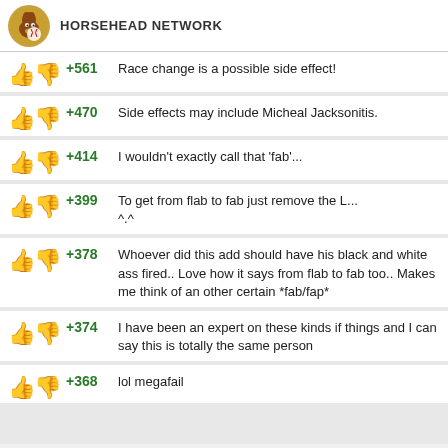HORSEHEAD NETWORK
+561 Race change is a possible side effect!
+470 Side effects may include Micheal Jacksonitis.
+414 I wouldn't exactly call that 'fab'...
+399 To get from flab to fab just remove the L... ^.^
+378 Whoever did this add should have his black and white ass fired.. Love how it says from flab to fab too.. Makes me think of an other certain *fab/fap*
+374 I have been an expert on these kinds if things and I can say this is totally the same person
+368 lol megafail